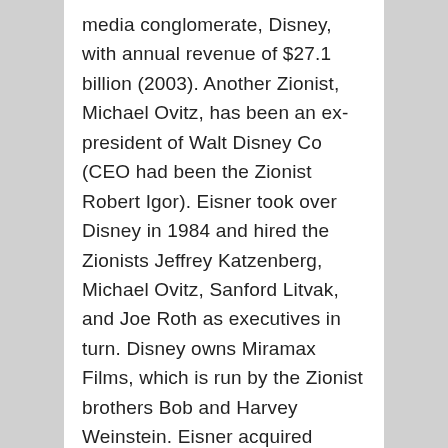media conglomerate, Disney, with annual revenue of $27.1 billion (2003). Another Zionist, Michael Ovitz, has been an ex-president of Walt Disney Co (CEO had been the Zionist Robert Igor). Eisner took over Disney in 1984 and hired the Zionists Jeffrey Katzenberg, Michael Ovitz, Sanford Litvak, and Joe Roth as executives in turn. Disney owns Miramax Films, which is run by the Zionist brothers Bob and Harvey Weinstein. Eisner acquired Capital Cities/ABC in 1995, which owns ABC television with 10 TV stations in major metropolitan areas. ABC has 225 affiliated TV and 2,900 radio stations in the US. In 1994, Capital Cities/ABC earned over $1 billion in publishing. The Chairman of the